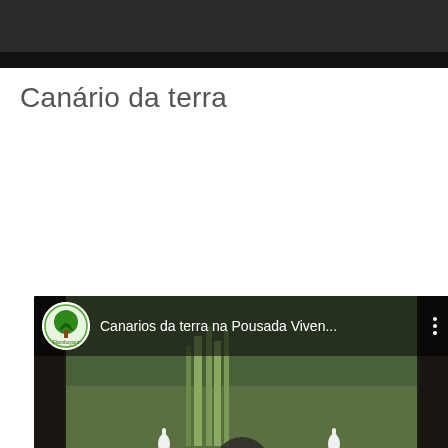[Figure (screenshot): Dark image bar at the top of the page, partially visible photo]
Canário da terra
[Figure (screenshot): YouTube-style embedded video player showing 'Canarios da terra na Pousada Viven...' with a garden scene, white birds, wooden fence, and fallen leaves. Play button overlay in the center. Channel logo (Flamboyant) top left.]